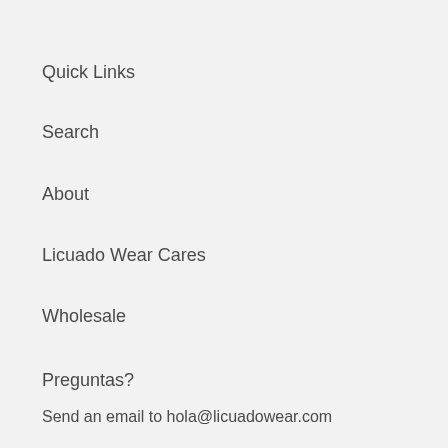Quick Links
Search
About
Licuado Wear Cares
Wholesale
Preguntas?
Send an email to hola@licuadowear.com